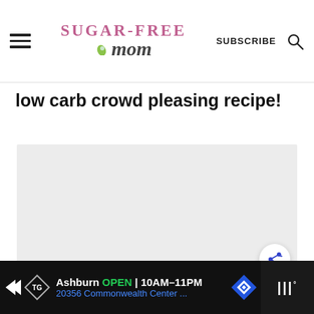Sugar-Free Mom — SUBSCRIBE
low carb crowd pleasing recipe!
[Figure (photo): Large light gray placeholder image area for a food photo]
Ashburn OPEN 10AM–11PM 20356 Commonwealth Center ...